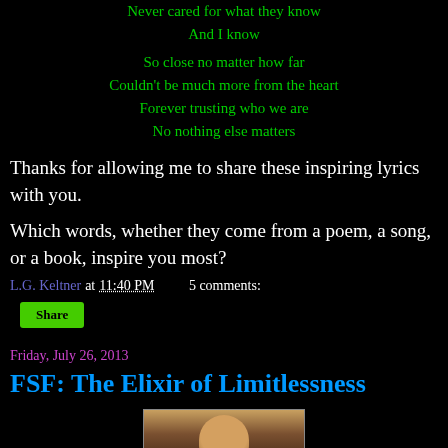Never cared for what they know
And I know
So close no matter how far
Couldn't be much more from the heart
Forever trusting who we are
No nothing else matters
Thanks for allowing me to share these inspiring lyrics with you.
Which words, whether they come from a poem, a song, or a book, inspire you most?
L.G. Keltner at 11:40 PM    5 comments:
Share
Friday, July 26, 2013
FSF: The Elixir of Limitlessness
[Figure (photo): A photo partially visible at the bottom of the page, showing a face or portrait]